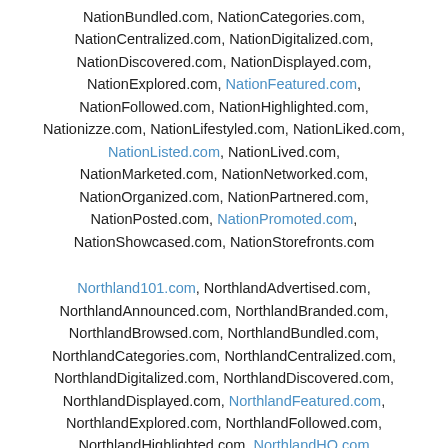NationBundled.com, NationCategories.com, NationCentralized.com, NationDigitalized.com, NationDiscovered.com, NationDisplayed.com, NationExplored.com, NationFeatured.com, NationFollowed.com, NationHighlighted.com, Nationizze.com, NationLifestyled.com, NationLiked.com, NationListed.com, NationLived.com, NationMarketed.com, NationNetworked.com, NationOrganized.com, NationPartnered.com, NationPosted.com, NationPromoted.com, NationShowcased.com, NationStorefronts.com
Northland101.com, NorthlandAdvertised.com, NorthlandAnnounced.com, NorthlandBranded.com, NorthlandBrowsed.com, NorthlandBundled.com, NorthlandCategories.com, NorthlandCentralized.com, NorthlandDigitalized.com, NorthlandDiscovered.com, NorthlandDisplayed.com, NorthlandFeatured.com, NorthlandExplored.com, NorthlandFollowed.com, NorthlandHighlighted.com, NorthlandHQ.com